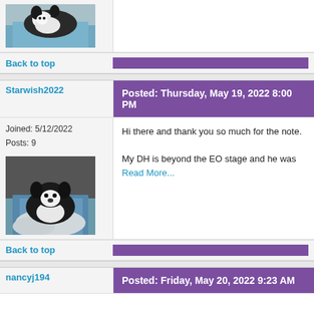[Figure (photo): Avatar image of a black and white dog lying on a blue blanket, partially cropped at top of page]
Back to top
Starwish2022
Posted: Thursday, May 19, 2022 8:00 PM
Joined: 5/12/2022
Posts: 9
[Figure (photo): Avatar image of a black and white Boston Terrier dog lying in a car seat with a blue blanket]
Hi there and thank you so much for the note.

My DH is beyond the EO stage and he was
Read More...
Back to top
nancyj194
Posted: Friday, May 20, 2022 9:23 AM